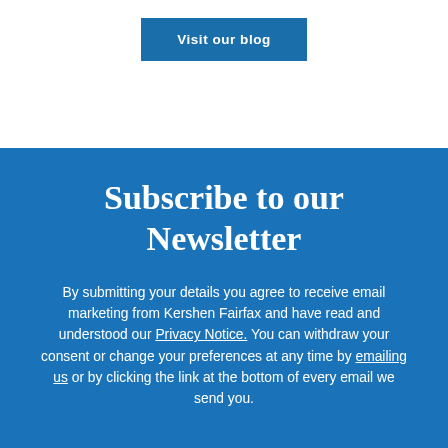Visit our blog
Subscribe to our Newsletter
By submitting your details you agree to receive email marketing from Kershen Fairfax and have read and understood our Privacy Notice. You can withdraw your consent or change your preferences at any time by emailing us or by clicking the link at the bottom of every email we send you.